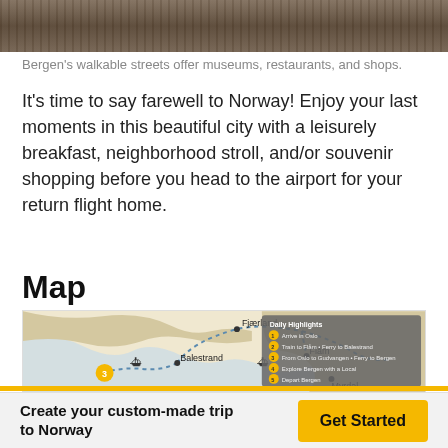[Figure (photo): Top photo strip showing wooden surface, possibly a dock or wooden structure in Bergen, Norway]
Bergen's walkable streets offer museums, restaurants, and shops.
It's time to say farewell to Norway! Enjoy your last moments in this beautiful city with a leisurely breakfast, neighborhood stroll, and/or souvenir shopping before you head to the airport for your return flight home.
Map
[Figure (map): Map of Norway fjord region showing dotted route connecting Balestrand, Fjærland, Flåm, and Myrdal. Daily Highlights legend box shows 5 numbered items: Arrive in Oslo, Train to Flåm + Ferry to Balestrand, From Oslo to Gudvangen + Ferry to Bergen, Explore Bergen with a Local, Depart Bergen.]
Create your custom-made trip to Norway
Get Started